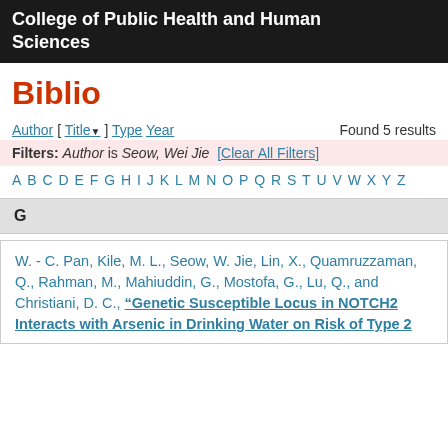College of Public Health and Human Sciences
Biblio
Author [ Title ] Type Year   Found 5 results
Filters: Author is Seow, Wei Jie [Clear All Filters]
A B C D E F G H I J K L M N O P Q R S T U V W X Y Z
G
W. - C. Pan, Kile, M. L., Seow, W. Jie, Lin, X., Quamruzzaman, Q., Rahman, M., Mahiuddin, G., Mostofa, G., Lu, Q., and Christiani, D. C., "Genetic Susceptible Locus in NOTCH2 Interacts with Arsenic in Drinking Water on Risk of Type 2